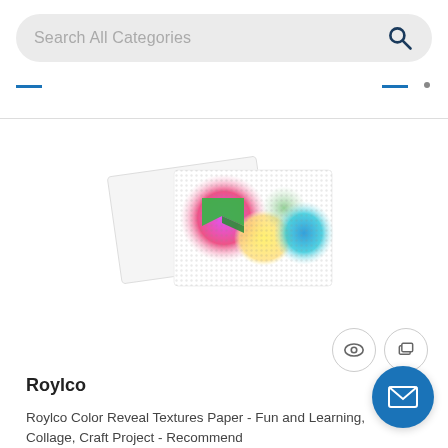[Figure (screenshot): Search bar with placeholder text 'Search All Categories' and a search icon on the right]
[Figure (photo): Product image showing Roylco Color Reveal Textures Paper with colorful pattern and a green arrow/bookmark on white card sheets]
Roylco
Roylco Color Reveal Textures Paper - Fun and Learning, Collage, Craft Project - Recommend
In Stock
Item Code: ROY75506
Category: Kraft Paper